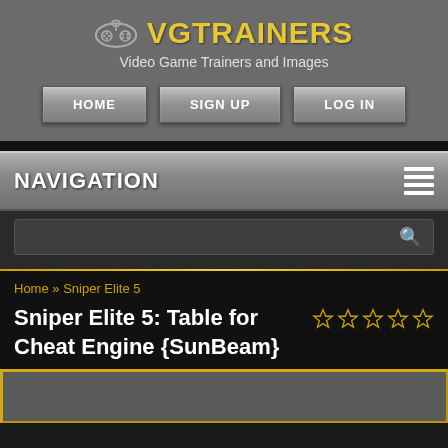VGTRAINERS
Video Game Trainers and Images
HOME | SIGN UP | LOG IN
NAVIGATION
Home » Sniper Elite 5
Sniper Elite 5: Table for Cheat Engine {SunBeam}